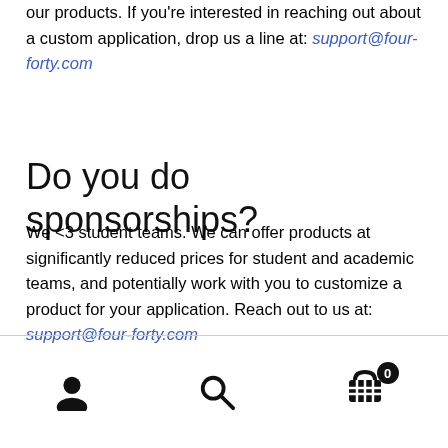our products. If you're interested in reaching out about a custom application, drop us a line at: support@four-forty.com
Do you do sponsorships?
We <3 student teams. We can offer products at significantly reduced prices for student and academic teams, and potentially work with you to customize a product for your application. Reach out to us at: support@four-forty.com
Navigation icons: user, search, cart (0)